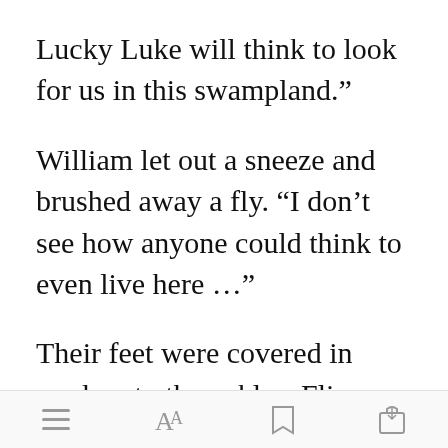Lucky Luke will think to look for us in this swampland.”
William let out a sneeze and brushed away a fly. “I don’t see how anyone could think to even live here …”
Their feet were covered in mud up to the ankles. Flies, mosquitoes, and strange weeds abounded
Open in app  [toolbar icons]